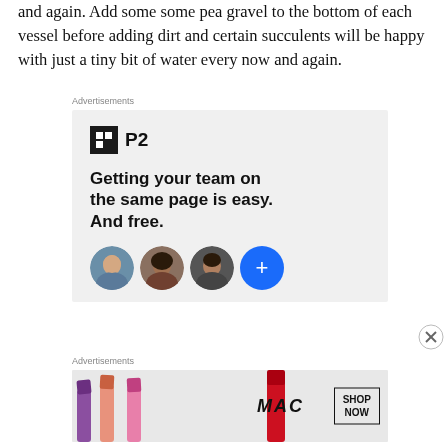and again. Add some some pea gravel to the bottom of each vessel before adding dirt and certain succulents will be happy with just a tiny bit of water every now and again.
[Figure (other): P2 advertisement: Logo with 'P2' text and icon, headline 'Getting your team on the same page is easy. And free.' with four circular avatars (three people photos and one blue plus button)]
[Figure (other): MAC cosmetics advertisement showing lipsticks with MAC logo and 'SHOP NOW' button]